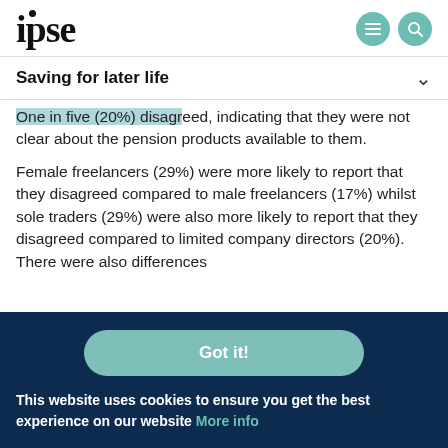ipse
Saving for later life
One in five (20%) disagreed, indicating that they were not clear about the pension products available to them.
Female freelancers (29%) were more likely to report that they disagreed compared to male freelancers (17%) whilst sole traders (29%) were also more likely to report that they disagreed compared to limited company directors (20%). There were also differences
Got it!
This website uses cookies to ensure you get the best experience on our website More info